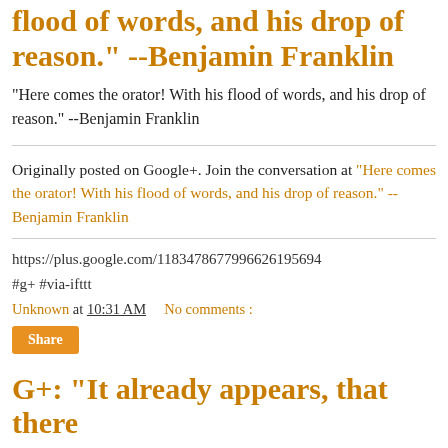flood of words, and his drop of reason." --Benjamin Franklin
"Here comes the orator! With his flood of words, and his drop of reason." --Benjamin Franklin
Originally posted on Google+. Join the conversation at "Here comes the orator! With his flood of words, and his drop of reason." --Benjamin Franklin
https://plus.google.com/118347867799662619569​4
#g+ #via-ifttt
Unknown at 10:31 AM     No comments :
Share
G+: "It already appears, that there